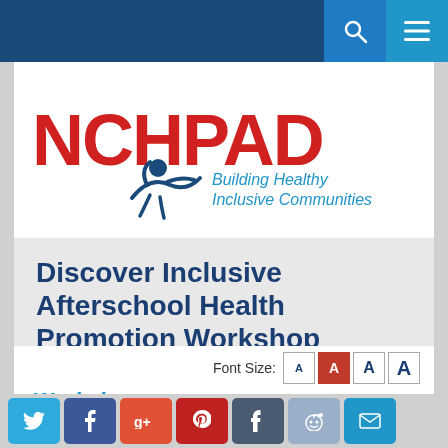[Figure (logo): NCHPAD logo with text 'Building Healthy Inclusive Communities']
Discover Inclusive Afterschool Health Promotion Workshop
Font Size: A A A A
Workshop Details
[Figure (infographic): Social sharing bar with icons for Twitter, Facebook, Google+, Pinterest, Tumblr, Reddit, Email]